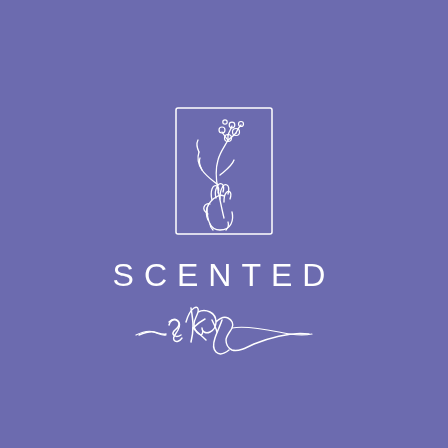[Figure (logo): Logo for 'Scented Sky' brand. A white line-art rectangle containing a hand holding a flower/plant sprig with berries, above the word SCENTED in spaced white sans-serif capitals, and below that 'sky' in white cursive/script lettering with decorative flourishes, all on a medium purple/periwinkle background.]